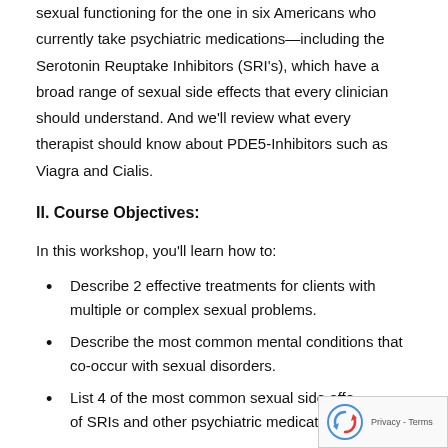sexual functioning for the one in six Americans who currently take psychiatric medications—including the Serotonin Reuptake Inhibitors (SRI's), which have a broad range of sexual side effects that every clinician should understand. And we'll review what every therapist should know about PDE5-Inhibitors such as Viagra and Cialis.
II. Course Objectives:
In this workshop, you'll learn how to:
Describe 2 effective treatments for clients with multiple or complex sexual problems.
Describe the most common mental conditions that co-occur with sexual disorders.
List 4 of the most common sexual side effects of SRIs and other psychiatric medications